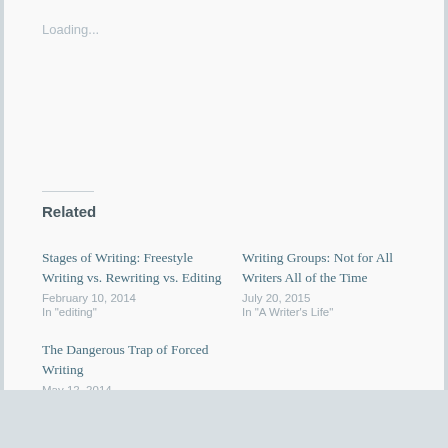Loading...
Related
Stages of Writing: Freestyle Writing vs. Rewriting vs. Editing
February 10, 2014
In "editing"
Writing Groups: Not for All Writers All of the Time
July 20, 2015
In "A Writer's Life"
The Dangerous Trap of Forced Writing
May 12, 2014
In "writing"
[Figure (logo): Partial yellow and white geometric/diamond-pattern logo or emblem visible at the bottom of the page on a grey background]